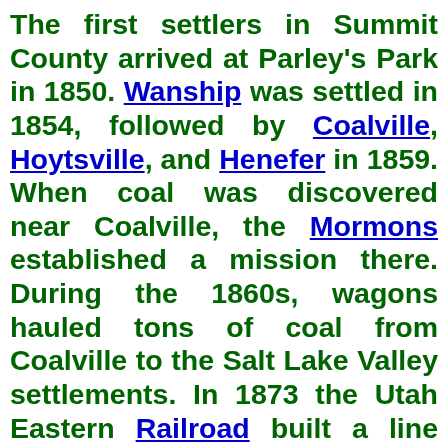The first settlers in Summit County arrived at Parley's Park in 1850. Wanship was settled in 1854, followed by Coalville, Hoytsville, and Henefer in 1859. When coal was discovered near Coalville, the Mormons established a mission there. During the 1860s, wagons hauled tons of coal from Coalville to the Salt Lake Valley settlements. In 1873 the Utah Eastern Railroad built a line from Echo Junction to Coalville to haul coal. This line eventually became part of the Union Pacific Railroad.